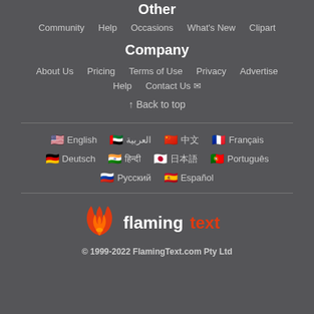Other
Community   Help   Occasions   What's New   Clipart
Company
About Us   Pricing   Terms of Use   Privacy   Advertise
Help   Contact Us ✉
↑ Back to top
🇺🇸 English   🇦🇪 العربية   🇨🇳 中文   🇫🇷 Français   🇩🇪 Deutsch   🇮🇳 हिन्दी   🇯🇵 日本語   🇵🇹 Português   🇷🇺 Русский   🇪🇸 Español
[Figure (logo): FlamingText logo with flame icon and stylized text]
© 1999-2022 FlamingText.com Pty Ltd